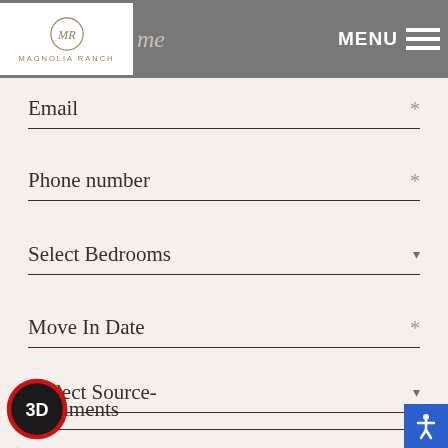[Figure (logo): Magnolia Ranch logo with circular monogram MR and text MAGNOLIA RANCH in spaced letters]
me   MENU ≡
Email *
Phone number *
Select Bedrooms ▾
Move In Date *
-Select Source- ▾
Comments